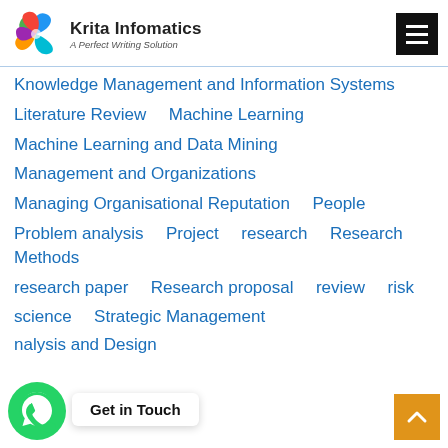[Figure (logo): Krita Infomatics logo with colorful swirl and text 'Krita Infomatics - A Perfect Writing Solution']
Knowledge Management and Information Systems
Literature Review   Machine Learning
Machine Learning and Data Mining
Management and Organizations
Managing Organisational Reputation   People
Problem analysis   Project   research   Research Methods
research paper   Research proposal   review   risk
science   Strategic Management
nalysis and Design
Get in Touch